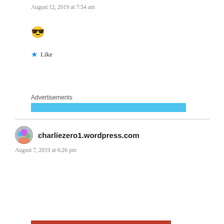August 12, 2019 at 7:54 am
😎
★ Like
Advertisements
[Figure (other): Blue advertisement bar]
charliezero1.wordpress.com
August 7, 2019 at 6:26 pm
Privacy & Cookies: This site uses cookies. By continuing to use this website, you agree to their use.
To find out more, including how to control cookies, see here: Cookie Policy
Close and accept